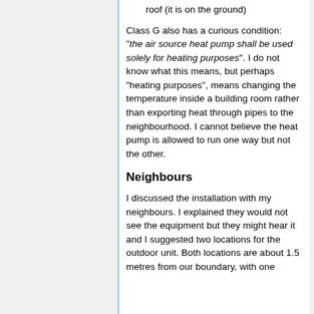roof (it is on the ground)
Class G also has a curious condition: "the air source heat pump shall be used solely for heating purposes". I do not know what this means, but perhaps "heating purposes", means changing the temperature inside a building room rather than exporting heat through pipes to the neighbourhood. I cannot believe the heat pump is allowed to run one way but not the other.
Neighbours
I discussed the installation with my neighbours. I explained they would not see the equipment but they might hear it and I suggested two locations for the outdoor unit. Both locations are about 1.5 metres from our boundary, with one